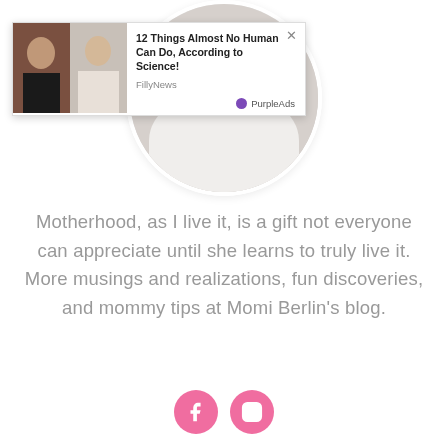[Figure (photo): Circular profile photo of a woman in a white dress, with a superimposed advertisement overlay showing two women images and text '12 Things Almost No Human Can Do, According to Science!' from FillyNews with PurpleAds branding and a close button.]
Motherhood, as I live it, is a gift not everyone can appreciate until she learns to truly live it. More musings and realizations, fun discoveries, and mommy tips at Momi Berlin's blog.
[Figure (illustration): Two pink circular social media icon buttons: Facebook (f) and Instagram (camera) icons side by side.]